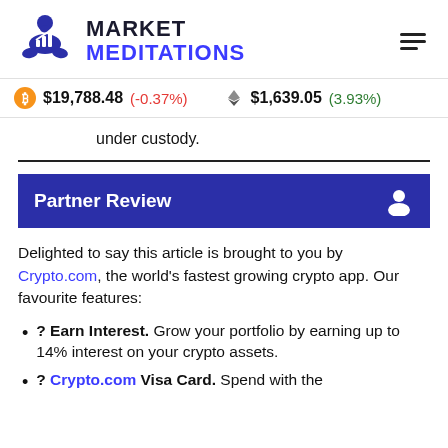MARKET MEDITATIONS
$19,788.48 (-0.37%)   $1,639.05 (3.93%)
under custody.
Partner Review
Delighted to say this article is brought to you by Crypto.com, the world's fastest growing crypto app. Our favourite features:
? Earn Interest. Grow your portfolio by earning up to 14% interest on your crypto assets.
? Crypto.com Visa Card. Spend with the